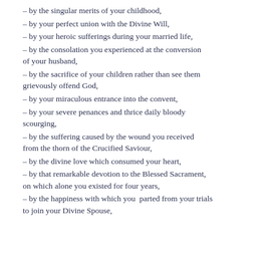– by the singular merits of your childhood,
– by your perfect union with the Divine Will,
– by your heroic sufferings during your married life,
– by the consolation you experienced at the conversion of your husband,
– by the sacrifice of your children rather than see them grievously offend God,
– by your miraculous entrance into the convent,
– by your severe penances and thrice daily bloody scourging,
– by the suffering caused by the wound you received from the thorn of the Crucified Saviour,
– by the divine love which consumed your heart,
– by that remarkable devotion to the Blessed Sacrament, on which alone you existed for four years,
– by the happiness with which you  parted from your trials to join your Divine Spouse,